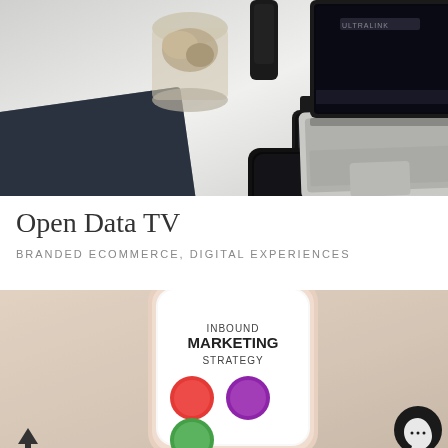[Figure (photo): Desk workspace photo showing a laptop with dark screen displaying 'ULTRALINK', a black smartphone, a smartwatch, a dark notebook/planner, a glass jar with dried material, and a black speaker on a white desk surface]
Open Data TV
BRANDED ECOMMERCE, DIGITAL EXPERIENCES
[Figure (photo): Close-up photo of a smartphone on a light pink/beige surface showing a screen with 'INBOUND MARKETING STRATEGY' text and colorful circular app icons. Bottom-left has an upward arrow icon and bottom-right has a dark circular WhatsApp-style button.]